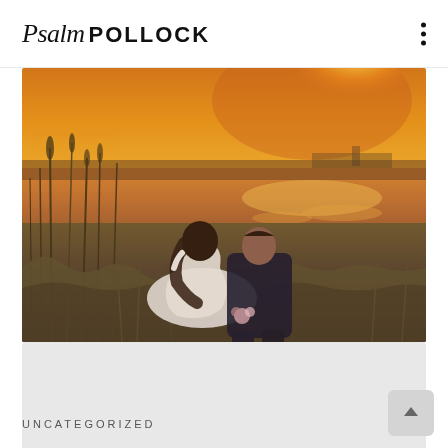Psalm POLLOCK
[Figure (photo): Wedding couple sitting in tall grass by a lake at sunset, viewed from behind. Bride in white dress, groom in dark suit. Warm golden-orange sunset reflecting on water.]
UNCATEGORIZED